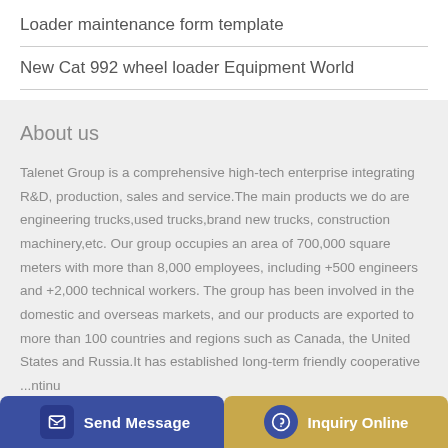Loader maintenance form template
New Cat 992 wheel loader Equipment World
About us
Talenet Group is a comprehensive high-tech enterprise integrating R&D, production, sales and service.The main products we do are engineering trucks,used trucks,brand new trucks, construction machinery,etc. Our group occupies an area of 700,000 square meters with more than 8,000 employees, including +500 engineers and +2,000 technical workers. The group has been involved in the domestic and overseas markets, and our products are exported to more than 100 countries and regions such as Canada, the United States and Russia.It has established long-term friendly cooperative ...ntinu